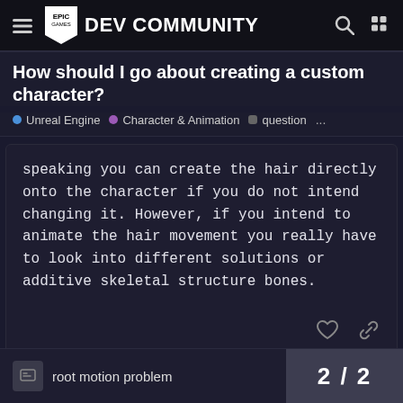Epic Games DEV COMMUNITY
How should I go about creating a custom character?
Unreal Engine  •  Character & Animation  ▪ question  ...
speaking you can create the hair directly onto the character if you do not intend changing it. However, if you intend to animate the hair movement you really have to look into different solutions or additive skeletal structure bones.
REPLY
root motion problem
2 / 2